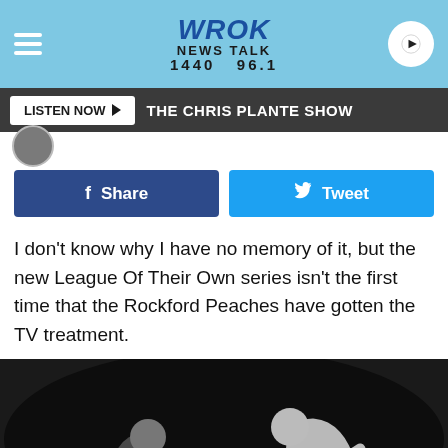WROK NEWS TALK 1440 96.1
LISTEN NOW ▶  THE CHRIS PLANTE SHOW
[Figure (screenshot): Facebook Share button (dark blue) and Twitter Tweet button (light blue)]
I don't know why I have no memory of it, but the new League Of Their Own series isn't the first time that the Rockford Peaches have gotten the TV treatment.
[Figure (photo): Black and white photograph of two baseball players, one reaching out to the other in what appears to be a game scene.]